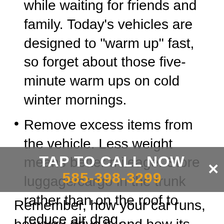Avoid excessive idling. Shut off the engine while waiting for friends and family. Today's vehicles are designed to "warm up" fast, so forget about those five-minute warm ups on cold winter mornings.
Remove excess items from the vehicle. Less weight means better mileage. Store luggage/cargo in the trunk rather than on the roof to reduce air drag.
Plan trips. Consolidate your daily errands to eliminate unnecessary driving. Try to travel when traffic is light to avoid stop-and-go conditions. Join a car pool.
[Figure (infographic): Gray overlay banner with white text 'TAP TO CALL NOW' and orange phone number '585-398-3299' with a white X close button]
Remember, how your car runs, how you drive it, and how its fluids, old parts, and tires are disposed of all